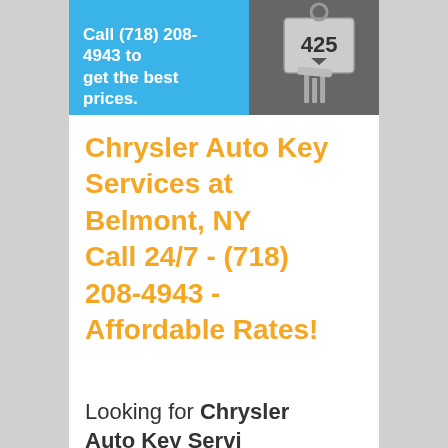Call (718) 208-4943 to get the best prices.
[Figure (photo): Photo of car keys with a key tag showing number 425]
Chrysler Auto Key Services at Belmont, NY Call 24/7 - (718) 208-4943 - Affordable Rates!
Looking for Chrysler Auto Key Services...